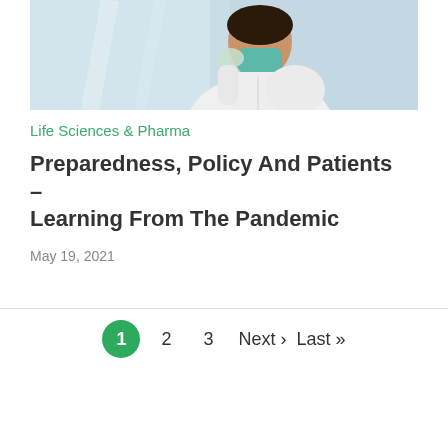[Figure (photo): A healthcare professional wearing a white coat and teal/green face mask, photographed against a light curtain background]
Life Sciences & Pharma
Preparedness, Policy And Patients – Learning From The Pandemic
May 19, 2021
1  2  3  Next › Last »